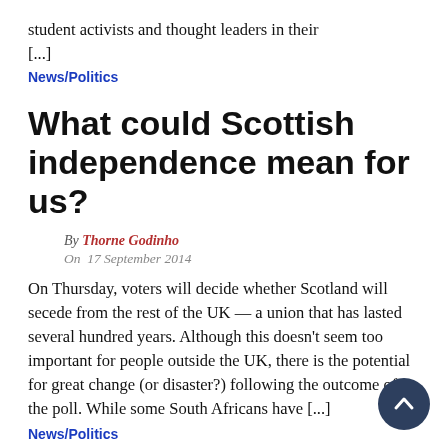student activists and thought leaders in their [...]
News/Politics
What could Scottish independence mean for us?
By Thorne Godinho
On  17 September 2014
On Thursday, voters will decide whether Scotland will secede from the rest of the UK — a union that has lasted several hundred years. Although this doesn't seem too important for people outside the UK, there is the potential for great change (or disaster?) following the outcome of the poll. While some South Africans have [...]
News/Politics